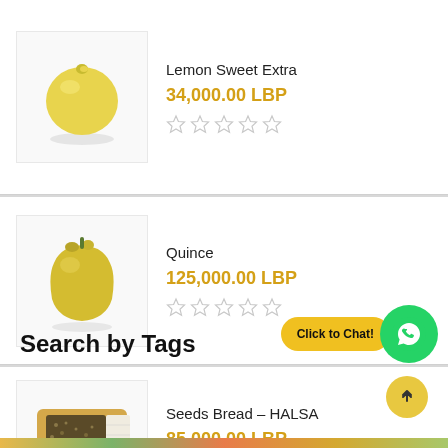[Figure (photo): Product listing: Lemon Sweet Extra with yellow lemon image, price 34,000.00 LBP and 5 empty star rating]
[Figure (photo): Product listing: Quince with yellow quince image, price 125,000.00 LBP and 5 empty star rating]
[Figure (photo): Product listing: Seeds Bread – HALSA with bread package image, price 85,000.00 LBP and 5 empty star rating]
Search by Tags